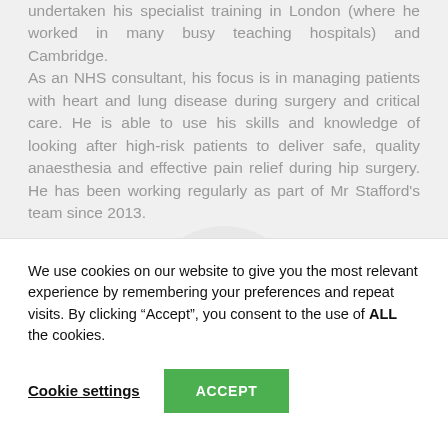undertaken his specialist training in London (where he worked in many busy teaching hospitals) and Cambridge. As an NHS consultant, his focus is in managing patients with heart and lung disease during surgery and critical care. He is able to use his skills and knowledge of looking after high-risk patients to deliver safe, quality anaesthesia and effective pain relief during hip surgery. He has been working regularly as part of Mr Stafford's team since 2013.
We use cookies on our website to give you the most relevant experience by remembering your preferences and repeat visits. By clicking "Accept", you consent to the use of ALL the cookies.